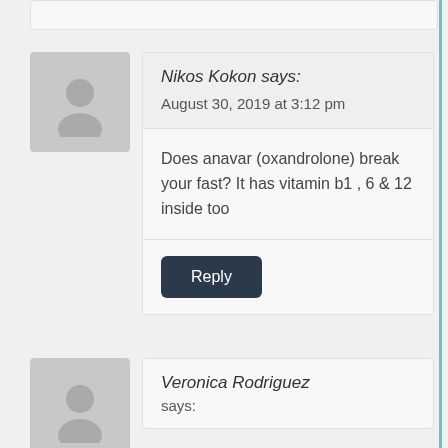Nikos Kokon says:
August 30, 2019 at 3:12 pm
Does anavar (oxandrolone) break your fast? It has vitamin b1 , 6 & 12 inside too
Reply
Veronica Rodriguez says: